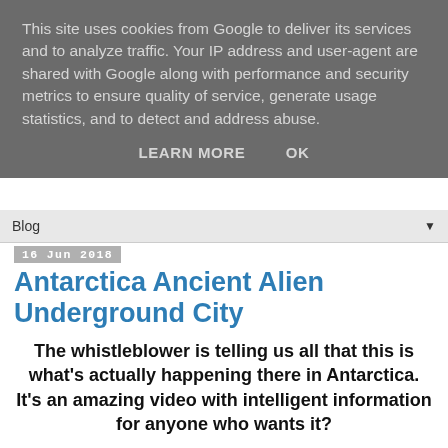This site uses cookies from Google to deliver its services and to analyze traffic. Your IP address and user-agent are shared with Google along with performance and security metrics to ensure quality of service, generate usage statistics, and to detect and address abuse.
LEARN MORE   OK
Blog
16 Jun 2018
Antarctica Ancient Alien Underground City
The whistleblower is telling us all that this is what's actually happening there in Antarctica. It's an amazing video with intelligent information for anyone who wants it?
We suggest watching the full video to get a full